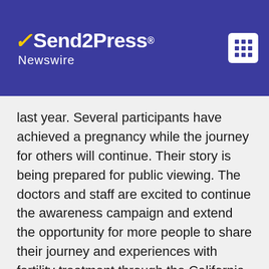[Figure (logo): Send2Press Newswire logo on dark blue/purple header background with a menu icon in top right corner]
last year. Several participants have achieved a pregnancy while the journey for others will continue. Their story is being prepared for public viewing. The doctors and staff are excited to continue the awareness campaign and extend the opportunity for more people to share their journey and experiences with fertility treatment through the California IVF Fertility Awareness 2021 campaign. #CIVFAwareness2021
More information: